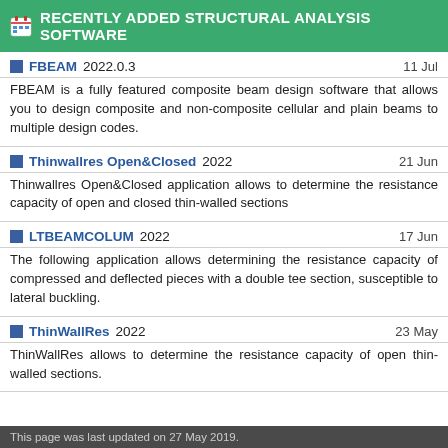RECENTLY ADDED STRUCTURAL ANALYSIS SOFTWARE
FBEAM 2022.0.3 — 11 Jul
FBEAM is a fully featured composite beam design software that allows you to design composite and non-composite cellular and plain beams to multiple design codes.
Thinwallres Open&Closed 2022 — 21 Jun
Thinwallres Open&Closed application allows to determine the resistance capacity of open and closed thin-walled sections
LTBEAMCOLUM 2022 — 17 Jun
The following application allows determining the resistance capacity of compressed and deflected pieces with a double tee section, susceptible to lateral buckling.
ThinWallRes 2022 — 23 May
ThinWallRes allows to determine the resistance capacity of open thin-walled sections.
This page was last updated on 27 May 2019.